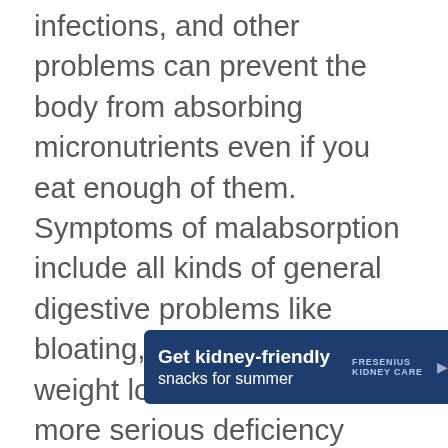infections, and other problems can prevent the body from absorbing micronutrients even if you eat enough of them. Symptoms of malabsorption include all kinds of general digestive problems like bloating, gas, diarrhea, and weight loss, and can lead to more serious deficiency diseases like anemia, kidney stones, and osteoporosis if left untreated. As well as seeking treatment from a doctor, many people find that the severity of the malabsorption decreases significantly after spending some time on a Paleo diet – bone broth and fermented foods are p[articular]ly [beneficial for gut f[unction and nutrient absorpt]
[Figure (other): Advertisement banner for Fresenius Kidney Care: 'Get kidney-friendly snacks for summer' with a Download now button, overlaid on the bottom portion of the text.]